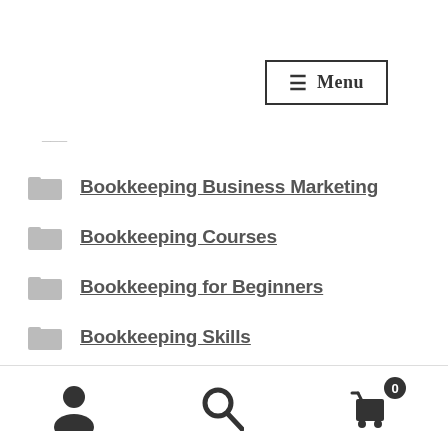Menu
…
Bookkeeping Business Marketing
Bookkeeping Courses
Bookkeeping for Beginners
Bookkeeping Skills
Business Administration
Buy an online business
Career Academy
Career Academy
Career…